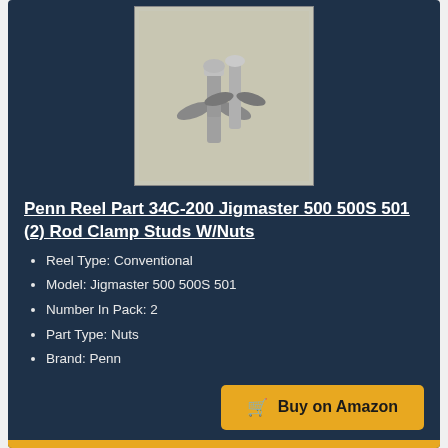[Figure (photo): Photo of Penn Reel Part 34C-200 rod clamp studs with nuts — two metal screws with wing-nut style fasteners on a light gray background]
Penn Reel Part 34C-200 Jigmaster 500 500S 501 (2) Rod Clamp Studs W/Nuts
Reel Type: Conventional
Model: Jigmaster 500 500S 501
Number In Pack: 2
Part Type: Nuts
Brand: Penn